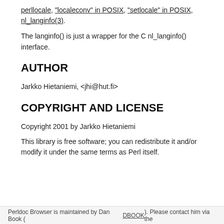perllocale, "localeconv" in POSIX, "setlocale" in POSIX, nl_langinfo(3).
The langinfo() is just a wrapper for the C nl_langinfo() interface.
AUTHOR
Jarkko Hietaniemi, <jhi@hut.fi>
COPYRIGHT AND LICENSE
Copyright 2001 by Jarkko Hietaniemi
This library is free software; you can redistribute it and/or modify it under the same terms as Perl itself.
Perldoc Browser is maintained by Dan Book (DBOOK). Please contact him via the